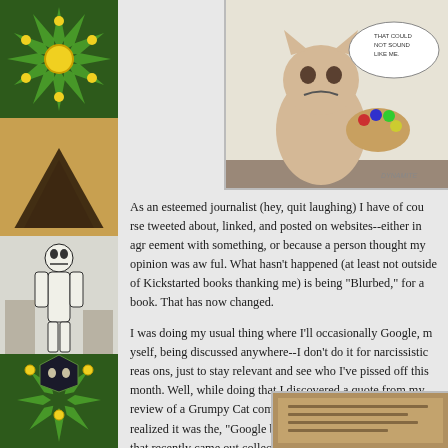[Figure (illustration): Left strip of comic book cover images including green starburst, tan pyramid/geometric shapes, black-and-white figure in white suit, and green hooded figure]
[Figure (photo): Top right image showing a Grumpy Cat comic book cover or page with a cartoon cat and painting palette]
As an esteemed journalist (hey, quit laughing) I have of course tweeted about, linked, and posted on websites--either in agreement with something, or because a person thought my opinion was awful. What hasn't happened (at least not outside of Kickstarted books thanking me) is being "Blurbed," for a book. That has now changed.
I was doing my usual thing where I'll occasionally Google, "myself," being discussed anywhere--I don't do it for narcissistic reasons, just to stay relevant and see who I've pissed off this month. Well, while doing that I discovered a quote from my review of a Grumpy Cat comic being used in a publication. I realized it was the, "Google books," preview of a collection that recently came out collecting the first mini-series published. I scrolled enough on the back-cover where review excerpts are displayed for my name to appear. Observe:
[Figure (photo): Bottom right partial image showing what appears to be a book back cover with review excerpts]